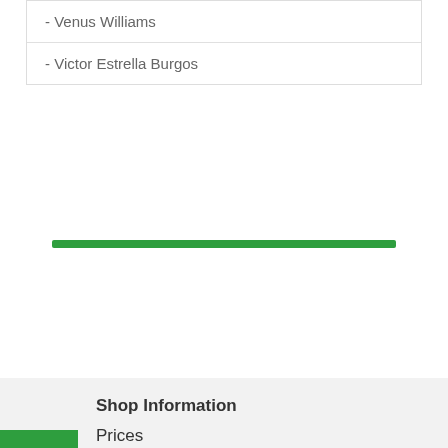- Venus Williams
- Victor Estrella Burgos
Shop Information
Prices
Lead Time